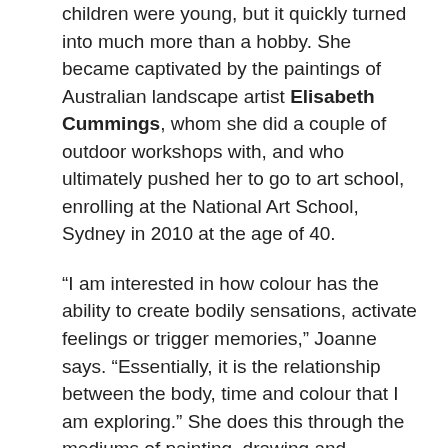children were young, but it quickly turned into much more than a hobby. She became captivated by the paintings of Australian landscape artist Elisabeth Cummings, whom she did a couple of outdoor workshops with, and who ultimately pushed her to go to art school, enrolling at the National Art School, Sydney in 2010 at the age of 40.
“I am interested in how colour has the ability to create bodily sensations, activate feelings or trigger memories,” Joanne says. “Essentially, it is the relationship between the body, time and colour that I am exploring.” She does this through the mediums of painting, drawing and installation.
The artist’s paintings are monochrome; built up through many layers of oil pigment. “Through the ritual of colour mixing I am able to connect to my inner self,” she explains. This process led Joanne to create more conceptual installation works. “I became excited [with] how colour